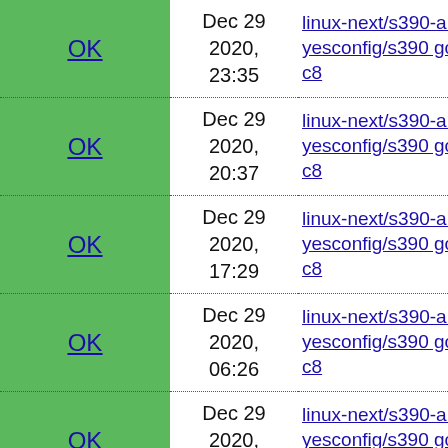| Status | Date | Link |
| --- | --- | --- |
| OK | Dec 29 2020, 23:35 | linux-next/s390-allyesconfig/s390 gcc8 |
| OK | Dec 29 2020, 20:37 | linux-next/s390-allyesconfig/s390 gcc8 |
| OK | Dec 29 2020, 17:29 | linux-next/s390-allyesconfig/s390 gcc8 |
| OK | Dec 29 2020, 06:26 | linux-next/s390-allyesconfig/s390 gcc8 |
| OK | Dec 29 2020, 01:56 | linux-next/s390-allyesconfig/s390 gcc8 |
| OK | Dec 16 2020, 22:49 | linux-next/s390-allyesconfig/s390 gcc8 |
| OK | Dec 15 ... | linux-next/s390-... |